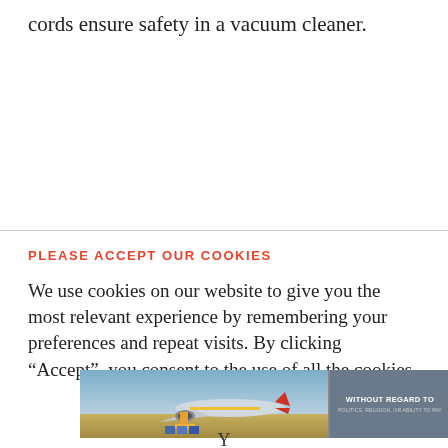cords ensure safety in a vacuum cleaner.
PLEASE ACCEPT OUR COOKIES
We use cookies on our website to give you the most relevant experience by remembering your preferences and repeat visits. By clicking “Accept”, you consent to the use of all the cookies.
[Figure (photo): Advertisement banner showing an airplane being loaded with cargo on a tarmac, with an overlay text reading 'WITHOUT REGARD TO' and smaller text below, on a dark grey background.]